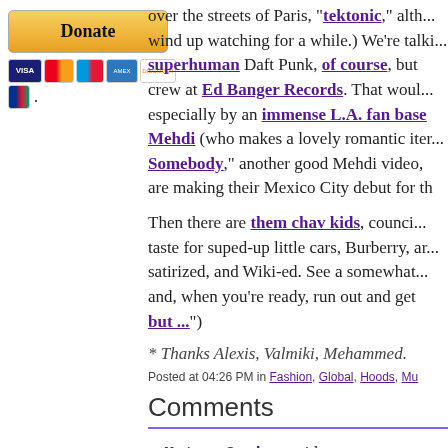[Figure (other): PayPal Donate button with payment card icons (Visa, Mastercard, Maestro, Amex, Discover, JCB)]
over the streets of Paris, "tektonic," although you wind up watching for a while.) We're talking superhuman Daft Punk, of course, but the crew at Ed Banger Records. That would be, especially by an immense L.A. fan base, Mehdi (who makes a lovely romantic item, Somebody," another good Mehdi video, are making their Mexico City debut for th
Then there are them chav kids, council taste for suped-up little cars, Burberry, and satirized, and Wiki-ed. See a somewhat and, when you're ready, run out and get but ...")
* Thanks Alexis, Valmiki, Mehammed.
Posted at 04:26 PM in Fashion, Global, Hoods, Mu
Comments
Metro_Cowboy said...
I dig a lot of this stuff. Although some